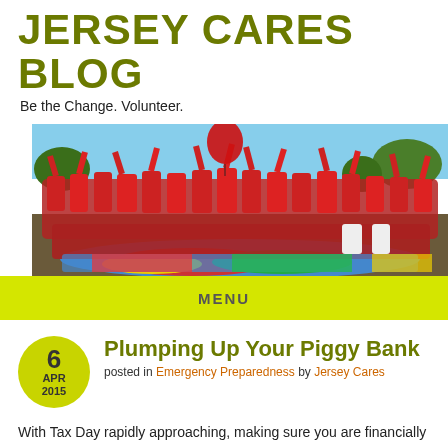JERSEY CARES BLOG
Be the Change. Volunteer.
[Figure (photo): Large group photo of volunteers in red t-shirts with arms raised, seated and standing on a colorful painted surface outdoors.]
MENU
Plumping Up Your Piggy Bank
posted in Emergency Preparedness by Jersey Cares
With Tax Day rapidly approaching, making sure you are financially prepared for a disaster is very important when discussing